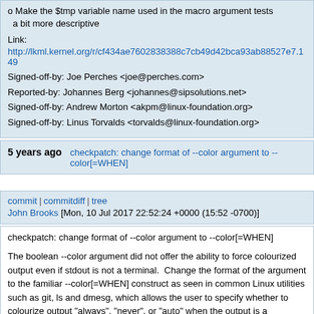o Make the $tmp variable name used in the macro argument tests a bit more descriptive

Link:
http://lkml.kernel.org/r/cf434ae7602838388c7cb49d42bca93ab88527e7.149...
Signed-off-by: Joe Perches <joe@perches.com>
Reported-by: Johannes Berg <johannes@sipsolutions.net>
Signed-off-by: Andrew Morton <akpm@linux-foundation.org>
Signed-off-by: Linus Torvalds <torvalds@linux-foundation.org>
5 years ago   checkpatch: change format of --color argument to --color[=WHEN]
commit | commitdiff | tree
John Brooks [Mon, 10 Jul 2017 22:52:24 +0000 (15:52 -0700)]
checkpatch: change format of --color argument to --color[=WHEN]

The boolean --color argument did not offer the ability to force colourized output even if stdout is not a terminal.  Change the format of the argument to the familiar --color[=WHEN] construct as seen in common Linux utilities such as git, ls and dmesg, which allows the user to specify whether to colourize output "always", "never", or "auto" when the output is a terminal.  The default is "auto".